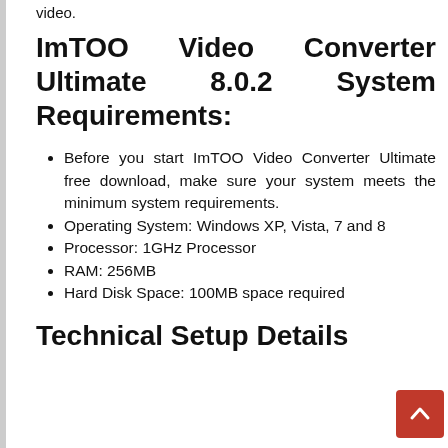video.
ImTOO Video Converter Ultimate 8.0.2 System Requirements:
Before you start ImTOO Video Converter Ultimate free download, make sure your system meets the minimum system requirements.
Operating System: Windows XP, Vista, 7 and 8
Processor: 1GHz Processor
RAM: 256MB
Hard Disk Space: 100MB space required
Technical Setup Details